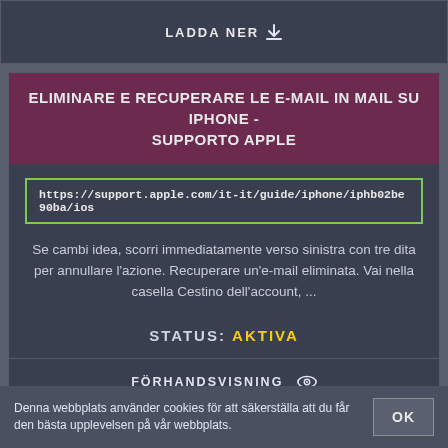LADDA NER ↓
ELIMINARE E RECUPERARE LE E-MAIL IN MAIL SU IPHONE - SUPPORTO APPLE
https://support.apple.com/it-it/guide/iphone/iphb02be90ba/ios
Se cambi idea, scorri immediatamente verso sinistra con tre dita per annullare l'azione. Recuperare un'e-mail eliminata. Vai nella casella Cestino dell'account, ...
STATUS: AKTIVA
FÖRHANDSVISNING 👁
LADDA NER ↓
Denna webbplats använder cookies för att säkerställa att du får den bästa upplevelsen på vår webbplats.